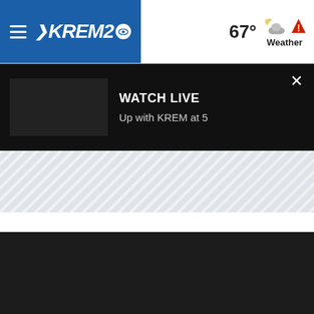[Figure (screenshot): KREM 2 news website screenshot showing navigation bar with hamburger menu, KREM2 CBS logo, temperature 67° with weather icon and alert, a Watch Live banner with black video thumbnail and text 'Up with KREM at 5', a striped placeholder content area, and a dark footer area.]
KREM2 | 67° Weather
WATCH LIVE
Up with KREM at 5